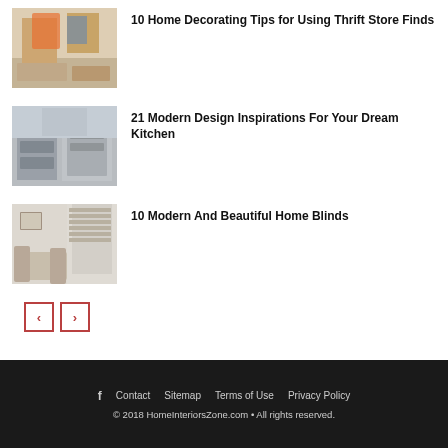[Figure (photo): Interior living room with colorful artwork and furniture]
10 Home Decorating Tips for Using Thrift Store Finds
[Figure (photo): Modern kitchen interior with gray cabinets]
21 Modern Design Inspirations For Your Dream Kitchen
[Figure (photo): Dining room with window blinds letting in light]
10 Modern And Beautiful Home Blinds
f  Contact  Sitemap  Terms of Use  Privacy Policy
© 2018 HomeInteriorsZone.com • All rights reserved.